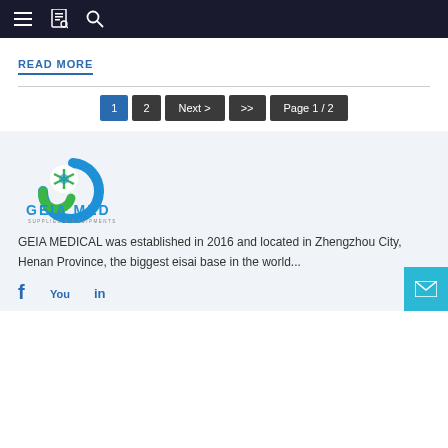Navigation bar with menu, bookmarks, and search icons
READ MORE
[Figure (screenshot): Pagination controls: 1 (active, blue), 2, Next >, >>, Page 1 / 2]
[Figure (logo): GEIA MED logo with blue and green circular icon and text GEIA MED SUPPLIES & EQUIPMENTS]
GEIA MEDICAL was established in 2016 and located in Zhengzhou City, Henan Province, the biggest eisai base in the world...
[Figure (illustration): Social media icons: Facebook, YouTube, LinkedIn]